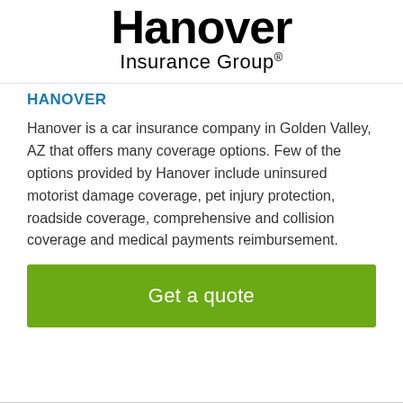[Figure (logo): Hanover Insurance Group logo with large bold 'Hanover' text and 'Insurance Group®' below]
HANOVER
Hanover is a car insurance company in Golden Valley, AZ that offers many coverage options. Few of the options provided by Hanover include uninsured motorist damage coverage, pet injury protection, roadside coverage, comprehensive and collision coverage and medical payments reimbursement.
Get a quote